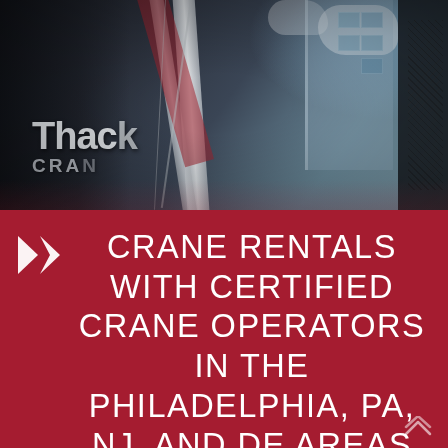[Figure (photo): Overhead/angled photograph of a Thacker crane with white and red boom structure, building visible in background with blue sky.]
CRANE RENTALS WITH CERTIFIED CRANE OPERATORS IN THE PHILADELPHIA, PA, NJ, AND DE AREAS